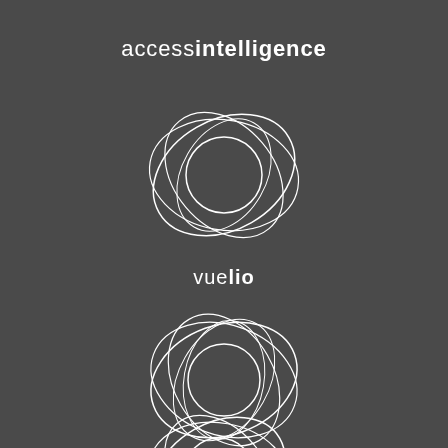[Figure (logo): Access Intelligence logo - text reading 'accessintelligence' in white on dark grey background, with 'access' in light weight and 'intelligence' in bold]
[Figure (logo): Vuelio logo - circular swirl design in white lines on dark grey background with 'vuelio' text below, 'vue' in light weight and 'lio' in bold]
[Figure (logo): ResponseSource logo - circular swirl design in white lines on dark grey background with 'responsesource' text below, 'response' in light weight and 'source' in bold]
[Figure (logo): Partial circular swirl logo at bottom of page, cut off]